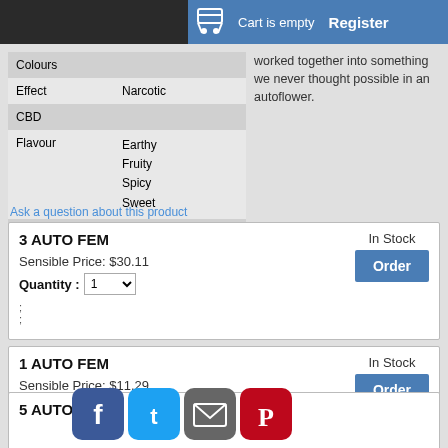Cart is empty  Register
| Property | Value |
| --- | --- |
| Colours |  |
| Effect | Narcotic |
| CBD |  |
| Flavour | Earthy
Fruity
Spicy
Sweet |
| Grow | Indoor/Outdoor |
worked together into something we never thought possible in an autoflower.
Ask a question about this product
3 AUTO FEM
Sensible Price: $30.11
Quantity : 1
In Stock
Order
1 AUTO FEM
Sensible Price: $11.29
Quantity : 1
In Stock
Order
5 AUTO FEM